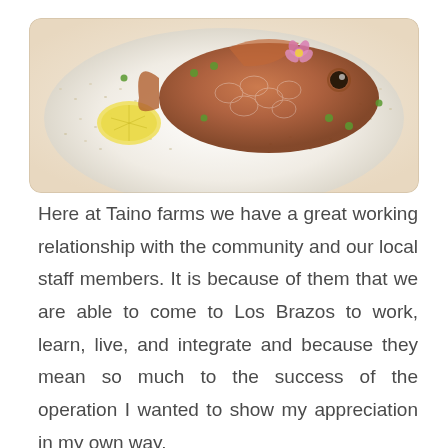[Figure (photo): A photo of a whole cooked fish dish garnished with a pink flower, lemon wedges, peas, and grains/rice on a white plate.]
Here at Taino farms we have a great working relationship with the community and our local staff members. It is because of them that we are able to come to Los Brazos to work, learn, live, and integrate and because they mean so much to the success of the operation I wanted to show my appreciation in my own way.